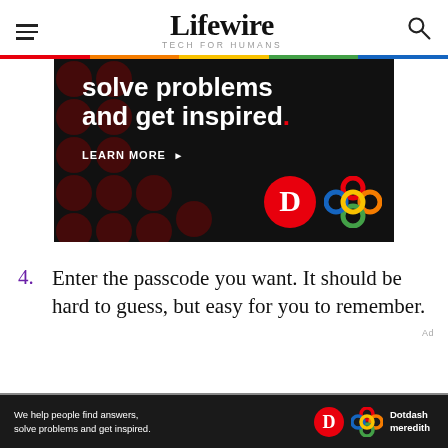Lifewire TECH FOR HUMANS
[Figure (photo): Advertisement banner with dark background showing text 'solve problems and get inspired.' with a LEARN MORE button, Dotdash D logo in red circle, and Meredith interlocking circles logo]
4. Enter the passcode you want. It should be hard to guess, but easy for you to remember.
[Figure (infographic): Bottom advertisement bar for Dotdash Meredith: 'We help people find answers, solve problems and get inspired.' with Dotdash and Meredith logos]